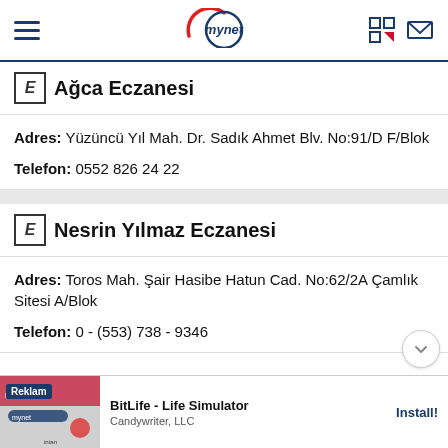mynet
E Ağca Eczanesi
Adres: Yüzüncü Yıl Mah. Dr. Sadık Ahmet Blv. No:91/D F/Blok
Telefon: 0552 826 24 22
E Nesrin Yılmaz Eczanesi
Adres: Toros Mah. Şair Hasibe Hatun Cad. No:62/2A Çamlık Sitesi A/Blok
Telefon: 0 - (553) 738 - 9346
Reklam BitLife - Life Simulator Candywriter, LLC Install!